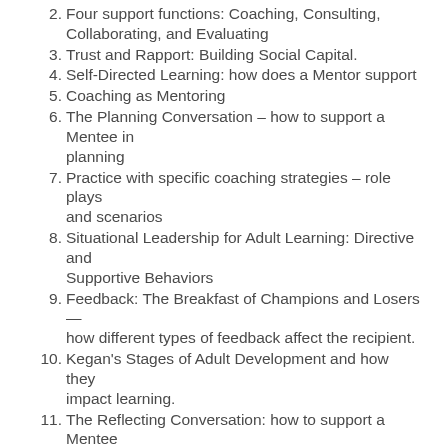2. Four support functions: Coaching, Consulting, Collaborating, and Evaluating
3. Trust and Rapport: Building Social Capital.
4. Self-Directed Learning: how does a Mentor support
5. Coaching as Mentoring
6. The Planning Conversation – how to support a Mentee in planning
7. Practice with specific coaching strategies – role plays and scenarios
8. Situational Leadership for Adult Learning: Directive and Supportive Behaviors
9. Feedback: The Breakfast of Champions and Losers — how different types of feedback affect the recipient.
10. Kegan's Stages of Adult Development and how they impact learning.
11. The Reflecting Conversation: how to support a Mentee in reflecting and evaluating
BUILDING A COMMUNITY